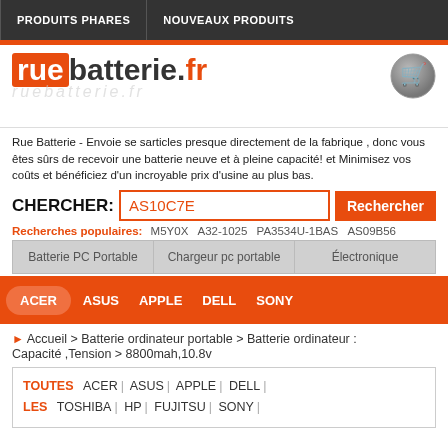PRODUITS PHARES  NOUVEAUX PRODUITS
[Figure (logo): ruebatterie.fr logo with orange background on 'rue', stylized watermark text below]
Rue Batterie - Envoie se sarticles presque directement de la fabrique , donc vous êtes sûrs de recevoir une batterie neuve et à pleine capacité! et Minimisez vos coûts et bénéficiez d'un incroyable prix d'usine au plus bas.
CHERCHER: AS10C7E  Rechercher
Recherches populaires: M5Y0X  A32-1025  PA3534U-1BAS  AS09B56
Batterie PC Portable | Chargeur pc portable | Électronique
ACER  ASUS  APPLE  DELL  SONY
▶ Accueil > Batterie ordinateur portable > Batterie ordinateur :
Capacité ,Tension > 8800mah,10.8v
TOUTES  ACER | ASUS | APPLE | DELL |
LES  TOSHIBA | HP | FUJITSU | SONY |